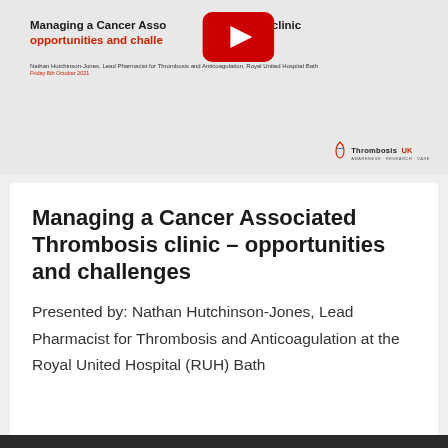[Figure (screenshot): Slide thumbnail showing title 'Managing a Cancer Associated Thrombosis clinic opportunities and challenges' with a YouTube play button overlay, author name Nathan Hutchinson-Jones, date Friday 8th October 2021, and Thrombosis UK logo]
Managing a Cancer Associated Thrombosis clinic – opportunities and challenges
Presented by: Nathan Hutchinson-Jones, Lead Pharmacist for Thrombosis and Anticoagulation at the Royal United Hospital (RUH) Bath